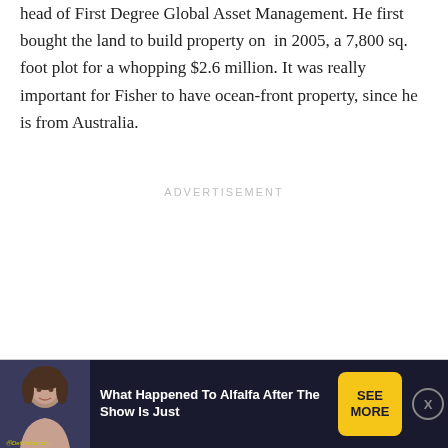head of First Degree Global Asset Management. He first bought the land to build property on in 2005, a 7,800 sq. foot plot for a whopping $2.6 million. It was really important for Fisher to have ocean-front property, since he is from Australia.
ADVERTISEMENT
[Figure (other): Advertisement banner at the bottom of the page. Shows a woman's photo on the left with 'Definition.com' label, text 'What Happened To Alfalfa After The Show Is Just' in white on dark background, a yellow 'SEE MORE' button, and an X close button.]